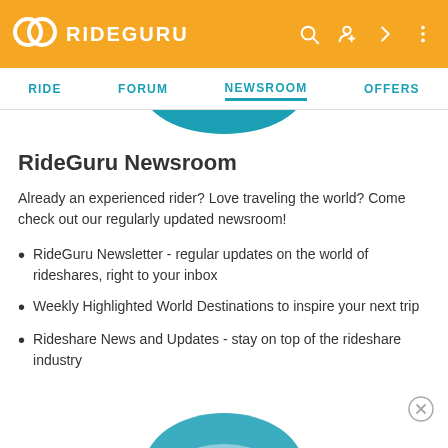RIDEGURU
RIDE | FORUM | NEWSROOM | OFFERS
RideGuru Newsroom
Already an experienced rider? Love traveling the world? Come check out our regularly updated newsroom!
RideGuru Newsletter - regular updates on the world of rideshares, right to your inbox
Weekly Highlighted World Destinations to inspire your next trip
Rideshare News and Updates - stay on top of the rideshare industry
See the latest news →